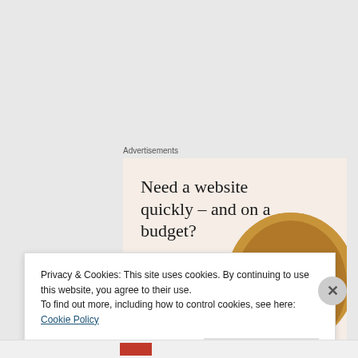Advertisements
[Figure (illustration): Advertisement banner with beige/cream background. Headline reads 'Need a website quickly – and on a budget?' with subtext 'Let us build it for you' and a 'Let's get started' button. A circular cropped photo of a person in a brown/mustard sweater using a laptop is shown on the right side.]
Privacy & Cookies: This site uses cookies. By continuing to use this website, you agree to their use.
To find out more, including how to control cookies, see here: Cookie Policy
Close and accept